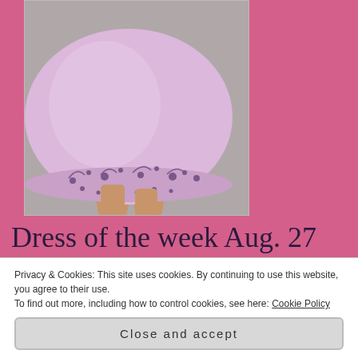[Figure (photo): Lower half of a woman wearing a lavender/pink floral embroidered tea-length dress with high heels, on a grey studio background]
Dress of the week Aug. 27
Privacy & Cookies: This site uses cookies. By continuing to use this website, you agree to their use.
To find out more, including how to control cookies, see here: Cookie Policy
Close and accept